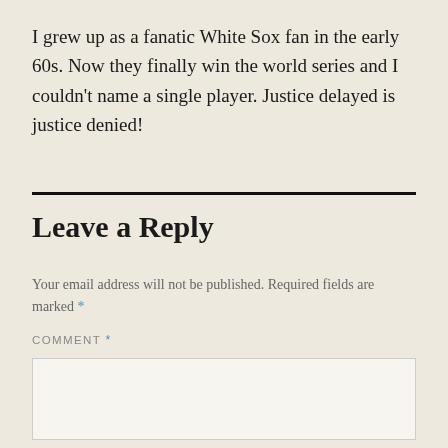I grew up as a fanatic White Sox fan in the early 60s. Now they finally win the world series and I couldn't name a single player. Justice delayed is justice denied!
Leave a Reply
Your email address will not be published. Required fields are marked *
COMMENT *